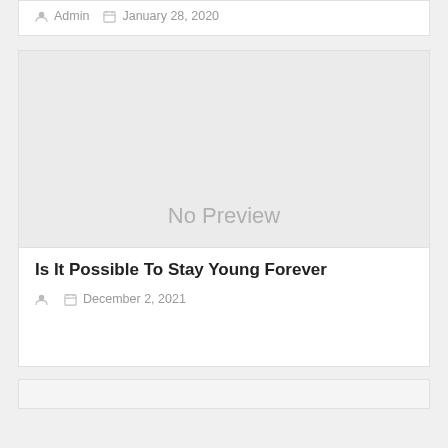Admin  January 28, 2020
[Figure (other): No Preview placeholder image with light gray background and 'No Preview' text]
Is It Possible To Stay Young Forever
December 2, 2021